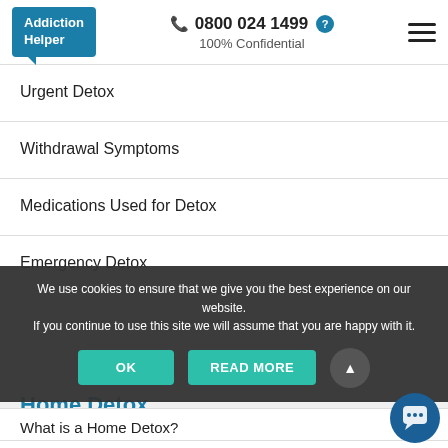Addiction Helper | 📞 0800 024 1499 | 100% Confidential
Urgent Detox
Withdrawal Symptoms
Medications Used for Detox
Emergency Detox
We use cookies to ensure that we give you the best experience on our website. If you continue to use this site we will assume that you are happy with it.
Home Detox
What is a Home Detox?
How Much is a Home Detox?